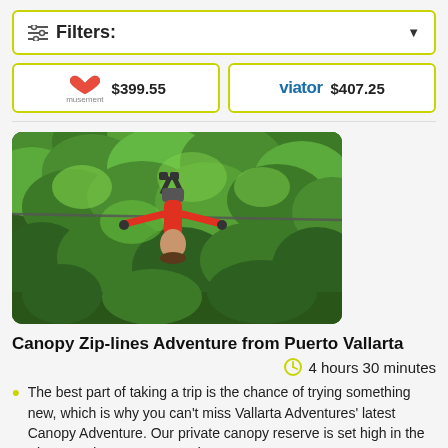Filters:
musement $399.55   viator $407.25
[Figure (photo): Person zip-lining upside down through a green jungle canopy, wearing red outfit, suspended from a cable among dense trees]
Canopy Zip-lines Adventure from Puerto Vallarta
4 hours 30 minutes
The best part of taking a trip is the chance of trying something new, which is why you can't miss Vallarta Adventures' latest Canopy Adventure. Our private canopy reserve is set high in the Sierra Madre's remote, verdurous